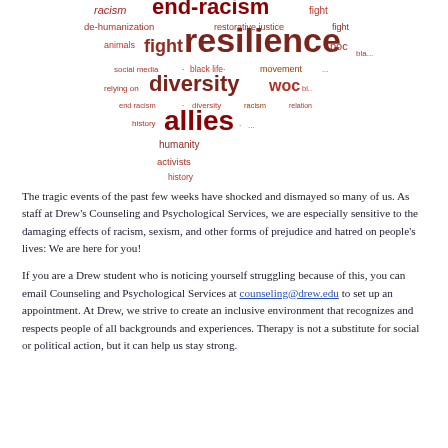[Figure (infographic): A word cloud in the shape of a downward-pointing triangle/heart composed of words related to anti-racism: racism, end-racism, fight, de-humanization, restorative justice, poc, fight, resilience, social media, black life, movement, diversity, woc, end racism, racism, allies, humanity, activists, history. Words are in various shades of red and dark red.]
The tragic events of the past few weeks have shocked and dismayed so many of us. As staff at Drew's Counseling and Psychological Services, we are especially sensitive to the damaging effects of racism, sexism, and other forms of prejudice and hatred on people's lives: We are here for you!
If you are a Drew student who is noticing yourself struggling because of this, you can email Counseling and Psychological Services at counseling@drew.edu to set up an appointment. At Drew, we strive to create an inclusive environment that recognizes and respects people of all backgrounds and experiences. Therapy is not a substitute for social or political action, but it can help us stay strong.